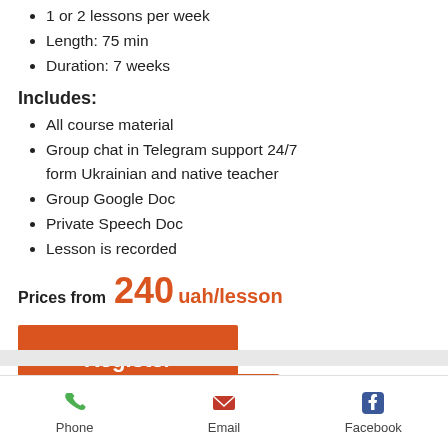1 or 2 lessons per week
Length: 75 min
Duration: 7 weeks
Includes:
All course material
Group chat in Telegram support 24/7 form Ukrainian and native teacher
Group Google Doc
Private Speech Doc
Lesson is recorded
Prices from 240 uah/lesson
[Figure (other): Orange Register button]
[Figure (other): Orange card with Phrasal Verbs text]
Phone  Email  Facebook